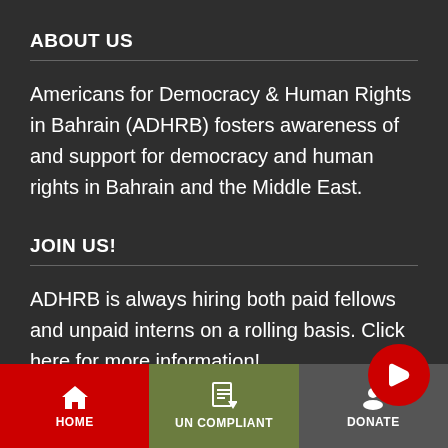ABOUT US
Americans for Democracy & Human Rights in Bahrain (ADHRB) fosters awareness of and support for democracy and human rights in Bahrain and the Middle East.
JOIN US!
ADHRB is always hiring both paid fellows and unpaid interns on a rolling basis. Click here for more information!
HOME | UN COMPLIANT | DONATE